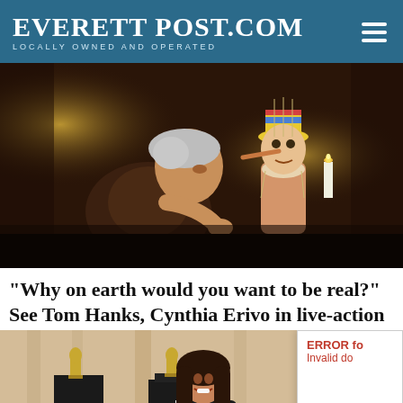EVERETT POST.COM — LOCALLY OWNED AND OPERATED
[Figure (photo): Scene from live-action Pinocchio: an elderly man (Geppetto, played by Tom Hanks) leans in close to the CGI puppet Pinocchio in a dimly lit workshop with candles. Pinocchio wears his iconic yellow hat with blue and red stripes.]
“Why on earth would you want to be real?” See Tom Hanks, Cynthia Erivo in live-action
[Figure (photo): A woman with long dark hair in a striped black and white outfit smiles at a ceremony, with Oscar statuette awards displayed on black pedestals around her. An error popup overlay appears on the right side reading: ERROR for Invalid do... with a close X button.]